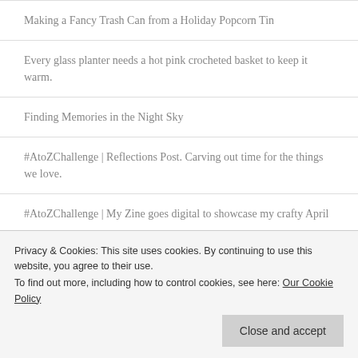Making a Fancy Trash Can from a Holiday Popcorn Tin
Every glass planter needs a hot pink crocheted basket to keep it warm.
Finding Memories in the Night Sky
#AtoZChallenge | Reflections Post. Carving out time for the things we love.
#AtoZChallenge | My Zine goes digital to showcase my crafty April
TWITTER
Privacy & Cookies: This site uses cookies. By continuing to use this website, you agree to their use.
To find out more, including how to control cookies, see here: Our Cookie Policy